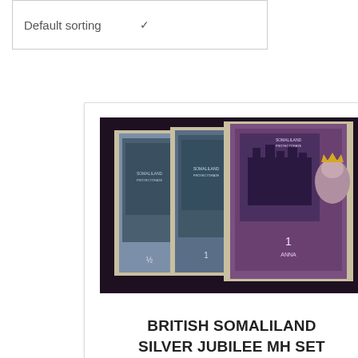Default sorting
[Figure (photo): British Somaliland Silver Jubilee postage stamp set showing multiple stamps with portrait of King George V wearing crown, and Windsor Castle vignette, in purple/mauve and blue colors]
BRITISH SOMALILAND SILVER JUBILEE MH SET
$11.00
Add to cart